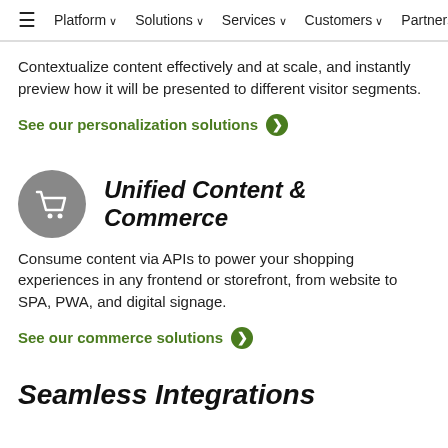≡  Platform ∨  Solutions ∨  Services ∨  Customers ∨  Partners ∨
Contextualize content effectively and at scale, and instantly preview how it will be presented to different visitor segments.
See our personalization solutions ❯
[Figure (illustration): Gray circle icon with white shopping cart symbol]
Unified Content & Commerce
Consume content via APIs to power your shopping experiences in any frontend or storefront, from website to SPA, PWA, and digital signage.
See our commerce solutions ❯
Seamless Integrations